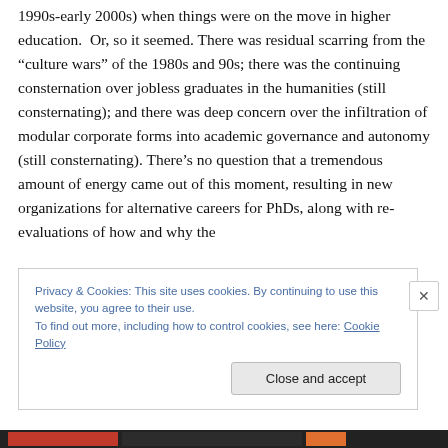1990s-early 2000s) when things were on the move in higher education.  Or, so it seemed. There was residual scarring from the “culture wars” of the 1980s and 90s; there was the continuing consternation over jobless graduates in the humanities (still consternating); and there was deep concern over the infiltration of modular corporate forms into academic governance and autonomy (still consternating). There’s no question that a tremendous amount of energy came out of this moment, resulting in new organizations for alternative careers for PhDs, along with re-evaluations of how and why the
Privacy & Cookies: This site uses cookies. By continuing to use this website, you agree to their use.
To find out more, including how to control cookies, see here: Cookie Policy
Close and accept